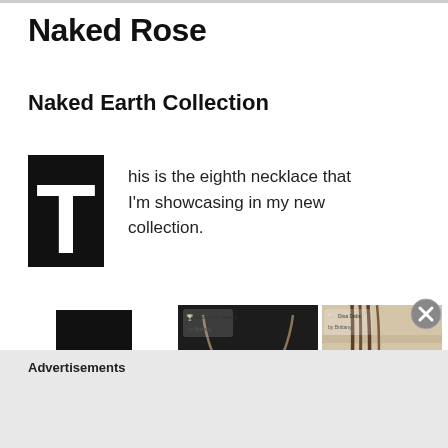Naked Rose
Naked Earth Collection
This is the eighth necklace that I'm showcasing in my new collection.
[Figure (photo): Necklace displayed on a dark mannequin bust, showing a cord-style necklace with a pendant at center]
[Figure (photo): Close-up of brown leather cord necklace strands laid flat on a light wood surface]
Advertisements